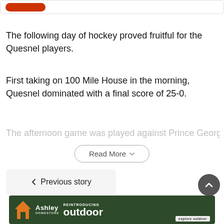[Figure (screenshot): Top bar with red button partially visible]
The following day of hockey proved fruitful for the Quesnel players.
First taking on 100 Mile House in the morning, Quesnel dominated with a final score of 25-0.
The afternoon game was played against Prince George Tier
[Figure (other): Read More button with dropdown chevron]
[Figure (other): Previous story navigation button with left chevron]
[Figure (other): Scroll to top circular button]
[Figure (other): Ashley HomeStore outdoor advertisement banner]